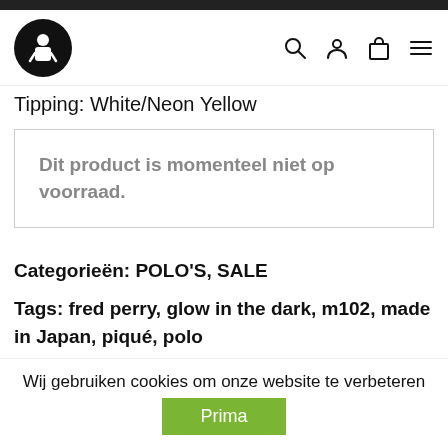Tipping: White/Neon Yellow
Dit product is momenteel niet op voorraad.
Categorieën: POLO'S, SALE
Tags: fred perry, glow in the dark, m102, made in Japan, piqué, polo
Merk: Fred Perry
[Figure (logo): Laurel wreath brand logo icon]
Wij gebruiken cookies om onze website te verbeteren